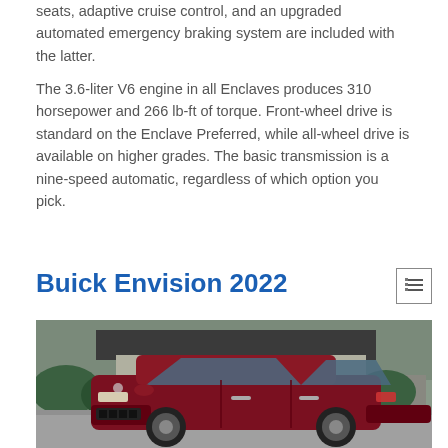seats, adaptive cruise control, and an upgraded automated emergency braking system are included with the latter.
The 3.6-liter V6 engine in all Enclaves produces 310 horsepower and 266 lb-ft of torque. Front-wheel drive is standard on the Enclave Preferred, while all-wheel drive is available on higher grades. The basic transmission is a nine-speed automatic, regardless of which option you pick.
Buick Envision 2022
[Figure (photo): Photo of a 2022 Buick Envision SUV in dark red/burgundy color parked in front of a modern house with a garage, surrounded by greenery.]